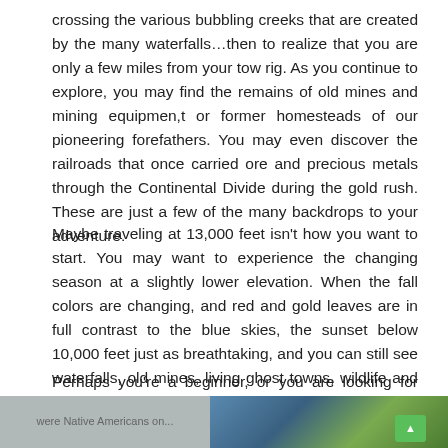crossing the various bubbling creeks that are created by the many waterfalls...then to realize that you are only a few miles from your tow rig. As you continue to explore, you may find the remains of old mines and mining equipmen,t or former homesteads of our pioneering forefathers. You may even discover the railroads that once carried ore and precious metals through the Continental Divide during the gold rush. These are just a few of the many backdrops to your adventure.
Maybe traveling at 13,000 feet isn't how you want to start. You may want to experience the changing season at a slightly lower elevation. When the fall colors are changing, and red and gold leaves are in full contrast to the blue skies, the sunset below 10,000 feet just as breathtaking, and you can still see waterfalls, old mines, living ghost towns, wildlife and post card landscape, but you will also see petroglyphs, saguaros, Indian ruins, and a thousand miles of trails that take you to the wild and remote land of the southwest.
Perhaps you're a beginner, or you are looking for easy-going and family-orientated trails that allow you to discover the thrill of traveling were Native Americans on...
[Figure (photo): Partial outdoor landscape photo visible at the bottom of the page, with a green navigation button overlay in the bottom right corner.]